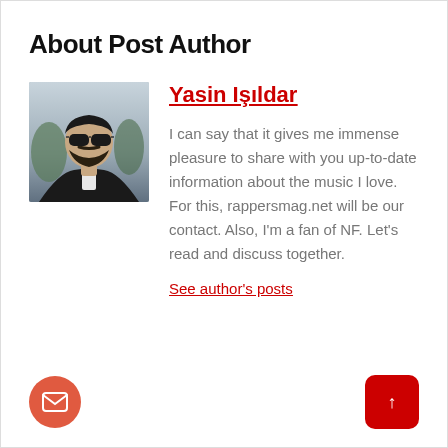About Post Author
[Figure (photo): Author profile photo: a man with sunglasses and beard wearing a dark jacket outdoors]
Yasin Işıldar
I can say that it gives me immense pleasure to share with you up-to-date information about the music I love. For this, rappersmag.net will be our contact. Also, I'm a fan of NF. Let's read and discuss together.
See author's posts
[Figure (other): Red circular email/envelope button]
[Figure (other): Red rounded square scroll-to-top button with upward arrow]